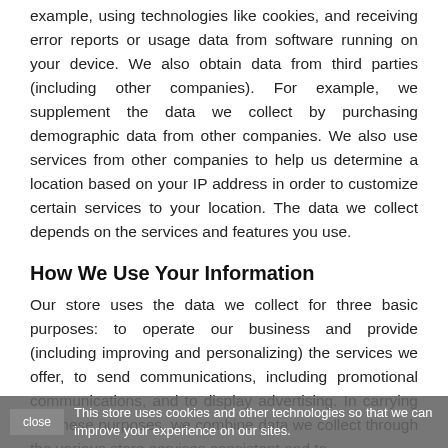example, using technologies like cookies, and receiving error reports or usage data from software running on your device. We also obtain data from third parties (including other companies). For example, we supplement the data we collect by purchasing demographic data from other companies. We also use services from other companies to help us determine a location based on your IP address in order to customize certain services to your location. The data we collect depends on the services and features you use.
How We Use Your Information
Our store uses the data we collect for three basic purposes: to operate our business and provide (including improving and personalizing) the services we offer, to send communications, including promotional communications, and to display advertising. In carrying out these purposes, we combine data we collect through the various store services consistent and to
This store uses cookies and other technologies so that we can improve your experience on our sites.